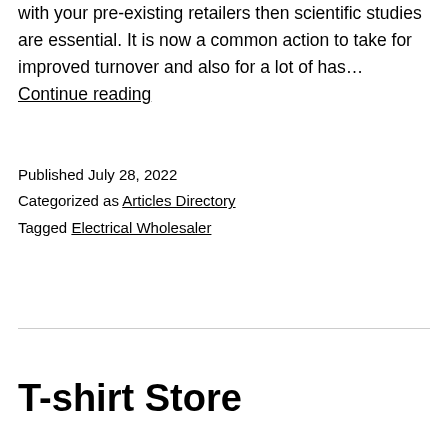with your pre-existing retailers then scientific studies are essential. It is now a common action to take for improved turnover and also for a lot of has… Continue reading
Published July 28, 2022
Categorized as Articles Directory
Tagged Electrical Wholesaler
T-shirt Store